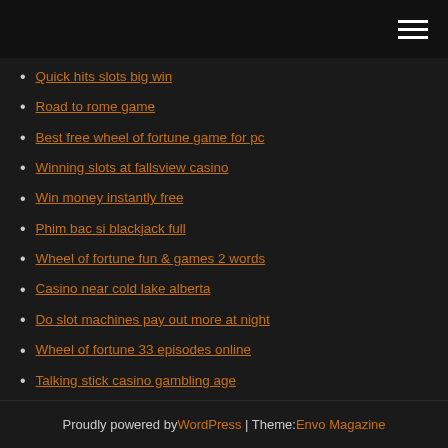[Navigation bar with hamburger menu]
Quick hits slots big win
Road to rome game
Best free wheel of fortune game for pc
Winning slots at fallsview casino
Win money instantly free
Phim bac si blackjack full
Wheel of fortune fun & games 2 words
Casino near cold lake alberta
Do slot machines pay out more at night
Wheel of fortune 33 episodes online
Talking stick casino gambling age
Proudly powered by WordPress | Theme: Envo Magazine